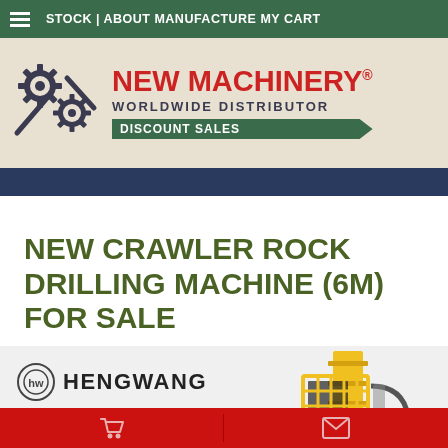STOCK | ABOUT MANUFACTURE MY CART
[Figure (logo): New Machinery worldwide distributor logo with gear icons and red brand name]
NEW CRAWLER ROCK DRILLING MACHINE (6M) FOR SALE
[Figure (photo): Hengwang branded crawler rock drilling machine (6M), yellow color, shown against light background with Hengwang logo visible]